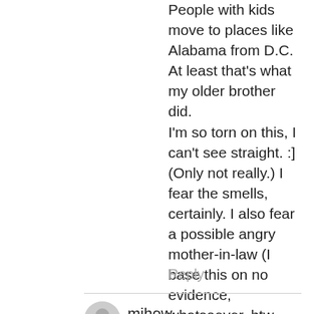People with kids move to places like Alabama from D.C. At least that's what my older brother did.
I'm so torn on this, I can't see straight. :] (Only not really.) I fear the smells, certainly. I also fear a possible angry mother-in-law (I base this on no evidence, whatsoever, btw. Just my imagination running wild.) Ugh. I should flip a coin.
Reply
mihow